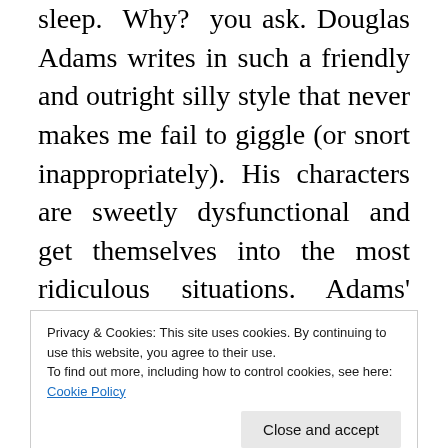sleep. Why? you ask. Douglas Adams writes in such a friendly and outright silly style that never makes me fail to giggle (or snort inappropriately). His characters are sweetly dysfunctional and get themselves into the most ridiculous situations. Adams' writing is so perfect and absorbing that I never stop to question some things that wouldn't have made any sense in any other book: How on earth did we get onto this spaceship? Who knows! But something entertaining is going to happen next and no matter how many times I've read it and despite the fact that I know exactly what's going to
Privacy & Cookies: This site uses cookies. By continuing to use this website, you agree to their use. To find out more, including how to control cookies, see here: Cookie Policy
happen before I do, I don't think about the rest of the